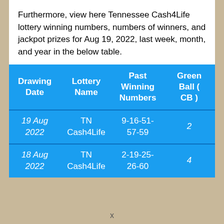Furthermore, view here Tennessee Cash4Life lottery winning numbers, numbers of winners, and jackpot prizes for Aug 19, 2022, last week, month, and year in the below table.
| Drawing Date | Lottery Name | Past Winning Numbers | Green Ball ( CB ) |
| --- | --- | --- | --- |
| 19 Aug 2022 | TN Cash4Life | 9-16-51-57-59 | 2 |
| 18 Aug 2022 | TN Cash4Life | 2-19-25-26-60 | 4 |